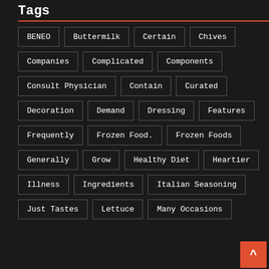Tags
BENEO
Buttermilk
Certain
Chives
Companies
Complicated
Components
Consult Physician
Contain
Curated
Decoration
Demand
Dressing
Features
Frequently
Frozen Food.
Frozen Foods
Generally
Grow
Healthy Diet
Heartier
Illness
Ingredients
Italian Seasoning
Just Tastes
Lettuce
Many Occasions